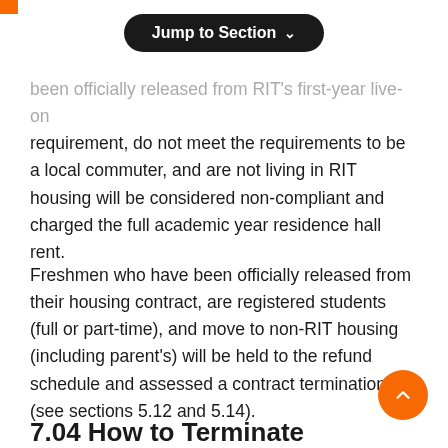Jump to Section
been officially released from RIT's first-year live-on requirement, do not meet the requirements to be a local commuter, and are not living in RIT housing will be considered non-compliant and charged the full academic year residence hall rent.
Freshmen who have been officially released from their housing contract, are registered students (full or part-time), and move to non-RIT housing (including parent's) will be held to the refund schedule and assessed a contract termination fee (see sections 5.12 and 5.14).
7.04 How to Terminate